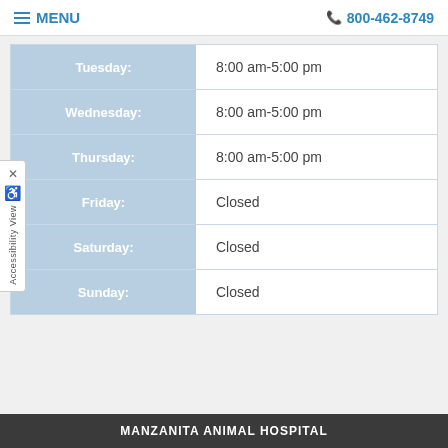☰ MENU   📞 800-462-8749
| Day | Hours |
| --- | --- |
| Tuesday: | 8:00 am-5:00 pm |
| Wednesday: | 8:00 am-5:00 pm |
| Thursday: | 8:00 am-5:00 pm |
| Friday: | Closed |
| Saturday: | Closed |
| Sunday: | Closed |
MANZANITA ANIMAL HOSPITAL